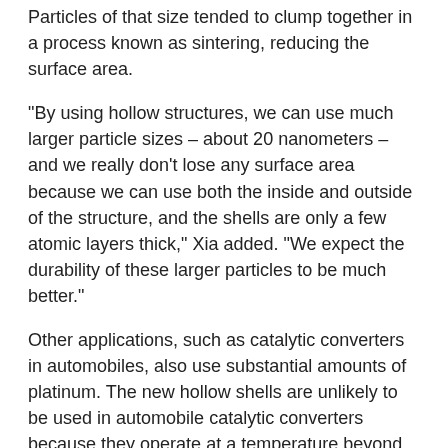Particles of that size tended to clump together in a process known as sintering, reducing the surface area.
"By using hollow structures, we can use much larger particle sizes – about 20 nanometers – and we really don't lose any surface area because we can use both the inside and outside of the structure, and the shells are only a few atomic layers thick," Xia added. "We expect the durability of these larger particles to be much better."
Other applications, such as catalytic converters in automobiles, also use substantial amounts of platinum. The new hollow shells are unlikely to be used in automobile catalytic converters because they operate at a temperature beyond what the structures can tolerate. However, the platinum nanocages could find use in other industrial processes such as hydrogenation.
Contributing to the experimental work done at Georgia